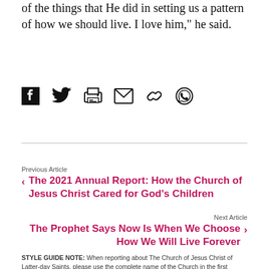of the things that He did in setting us a pattern of how we should live. I love him," he said.
[Figure (other): Social sharing icons: Facebook, Twitter, Print, Email, Link, WhatsApp]
Previous Article
‹ The 2021 Annual Report: How the Church of Jesus Christ Cared for God's Children
Next Article
The Prophet Says Now Is When We Choose How We Will Live Forever ›
STYLE GUIDE NOTE: When reporting about The Church of Jesus Christ of Latter-day Saints, please use the complete name of the Church in the first